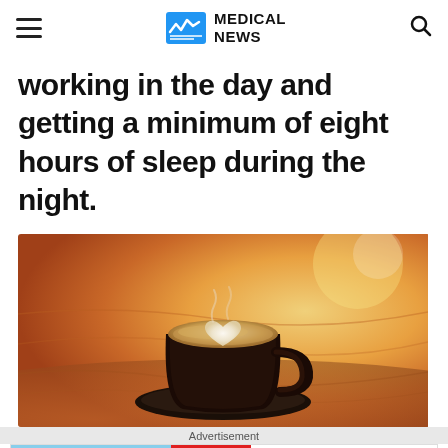MEDICAL NEWS
working in the day and getting a minimum of eight hours of sleep during the night.
[Figure (photo): A close-up photo of a coffee latte art cup with a heart pattern in foam, sitting on a wooden table with warm bokeh background lighting.]
Advertisement
[Figure (screenshot): Advertisement banner for BitLife - Life Simulator app with Install button.]